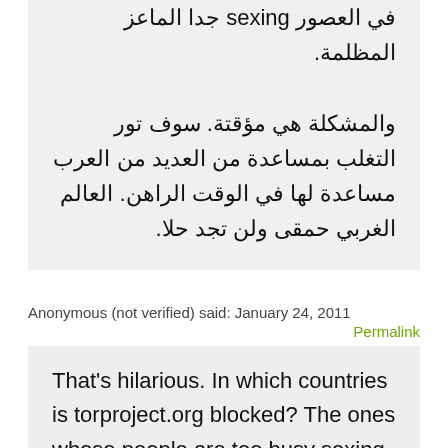في العصور sexing جدا الماعز المظلمة.
والمشكلة هي مؤقتة. سوف تور التغلب بمساعدة من العديد من العرب مساعدة لها في الوقت الراهن. العالم الغربي حمقى ولن تجد حلا.
Anonymous (not verified) said: January 24, 2011
Permalink
That's hilarious. In which countries is torproject.org blocked? The ones whose people are too busy sexing